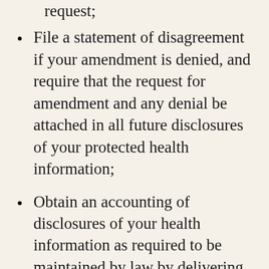request;
File a statement of disagreement if your amendment is denied, and require that the request for amendment and any denial be attached in all future disclosures of your protected health information;
Obtain an accounting of disclosures of your health information as required to be maintained by law by delivering a written request to our office. An accounting will not include internal uses of information for treatment, payment, or operations, disclosures